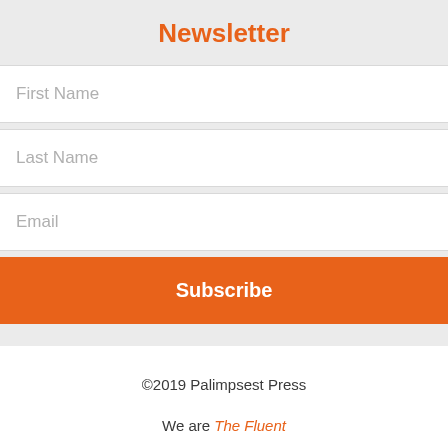Newsletter
First Name
Last Name
Email
Subscribe
©2019 Palimpsest Press
We are The Fluent